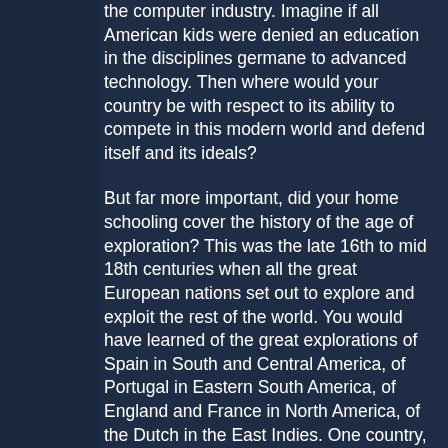the computer industry. Imagine if all American kids were denied an education in the disciplines germane to advanced technology. Then where would your country be with respect to its ability to compete in this modern world and defend itself and its ideals?
But far more important, did your home schooling cover the history of the age of exploration? This was the late 16th to mid 18th centuries when all the great European nations set out to explore and exploit the rest of the world. You would have learned of the great explorations of Spain in South and Central America, of Portugal in Eastern South America, of England and France in North America, of the Dutch in the East Indies. One country, and one of the richest and most powerful at the time, is strangely missing from this roster: Italy. Or as it was known at the time, the Papal states.
Why was Italy alone left out of this booty that so enriched its neighbors and rivals that